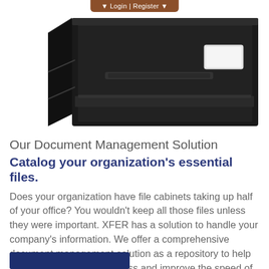[Figure (photo): A black metal file cabinet drawer slightly open, shown from a front-angled view. A brown/copper colored navigation bar with 'Login | Register' text is visible at the top of the image.]
Our Document Management Solution
Catalog your organization's essential files.
Does your organization have file cabinets taking up half of your office? You wouldn't keep all those files unless they were important. XFER has a solution to handle your company's information. We offer a comprehensive document management solution as a repository to help you streamline your business and improve the speed of productivity.